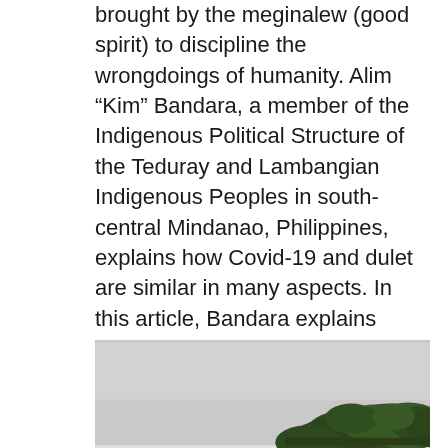brought by the meginalew (good spirit) to discipline the wrongdoings of humanity. Alim “Kim” Bandara, a member of the Indigenous Political Structure of the Teduray and Lambangian Indigenous Peoples in south-central Mindanao, Philippines, explains how Covid-19 and dulet are similar in many aspects. In this article, Bandara explains how the Teduray and Lambangian have confronted similar situations before and what lessons these experiences hold.
[Figure (photo): Partial photograph showing a landscape with trees against a light grey sky, cropped at the bottom of the page.]